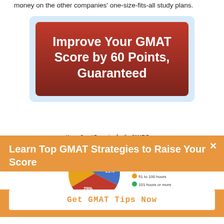money on the other companies' one-size-fits-all study plans.
[Figure (infographic): Red button-style advertisement on light blue background reading 'Improve Your GMAT Score by 60 Points, Guaranteed']
[Figure (pie-chart): Hours Spent Preparing for the GMAT Exam]
Learn Top GMAT Strategies to Raise Your Score
Get GMAT Tips Now